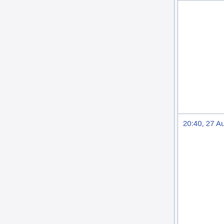| Date |  |
| --- | --- |
|  |  |
| 20:40, 27 August 2016 |  |
| 13:58, 18 August 2016 |  |
| 22:57, 13 August 2016 |  |